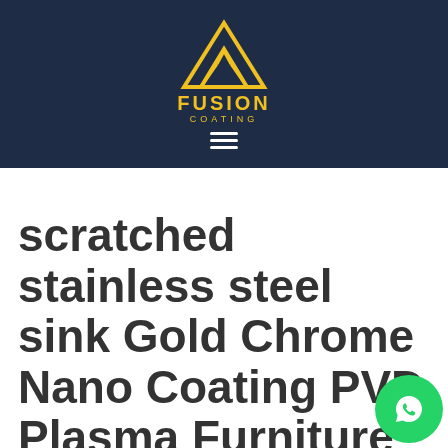[Figure (logo): Fusion Coating logo with yellow triangle/mountain geometric mark and text FUSION COATING on dark navy background, with hamburger menu icon below]
scratched stainless steel sink Gold Chrome Nano Coating PVD Plasma Furniture